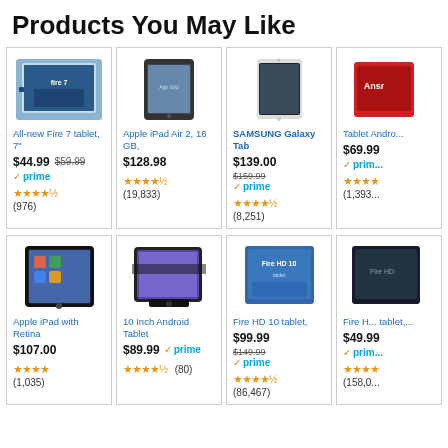Products You May Like
[Figure (photo): Amazon Fire 7 tablet product image]
All-new Fire 7 tablet, 7" — $44.99 $59.99 prime — ★★★★☆ (976)
[Figure (photo): Apple iPad Air 2, 16GB product image]
Apple iPad Air 2, 16 GB, — $128.98 — ★★★★½ (19,833)
[Figure (photo): Samsung Galaxy Tab product image]
SAMSUNG Galaxy Tab — $139.00 $159.99 prime — ★★★★½ (8,251)
[Figure (photo): Tablet Android product image (partially visible)]
Tablet Android — $69.99 prime — ★★★★ (1,393)
[Figure (photo): Apple iPad with Retina product image]
Apple iPad with Retina — $107.00 — ★★★★ (1,035)
[Figure (photo): 10 Inch Android Tablet product image]
10 Inch Android Tablet — $89.99 prime — ★★★★½ (80)
[Figure (photo): Fire HD 10 tablet product image]
Fire HD 10 tablet, — $99.99 $149.99 prime — ★★★★½ (86,467)
[Figure (photo): Fire HD tablet partially visible product image]
Fire HD tablet, — $49.99 prime — ★★★★ (158,0...)